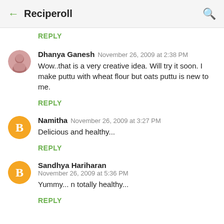← Reciperoll 🔍
REPLY
Dhanya Ganesh  November 26, 2009 at 2:38 PM
Wow..that is a very creative idea. Will try it soon. I make puttu with wheat flour but oats puttu is new to me.
REPLY
Namitha  November 26, 2009 at 3:27 PM
Delicious and healthy...
REPLY
Sandhya Hariharan  November 26, 2009 at 5:36 PM
Yummy... n totally healthy...
REPLY